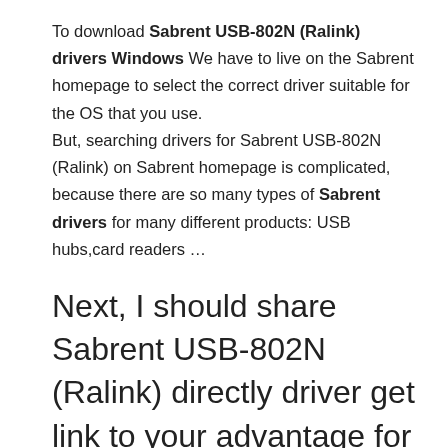To download Sabrent USB-802N (Ralink) drivers Windows We have to live on the Sabrent homepage to select the correct driver suitable for the OS that you use.
But, searching drivers for Sabrent USB-802N (Ralink) on Sabrent homepage is complicated, because there are so many types of Sabrent drivers for many different products: USB hubs,card readers …
Next, I should share Sabrent USB-802N (Ralink) directly driver get link to your advantage for faster download.